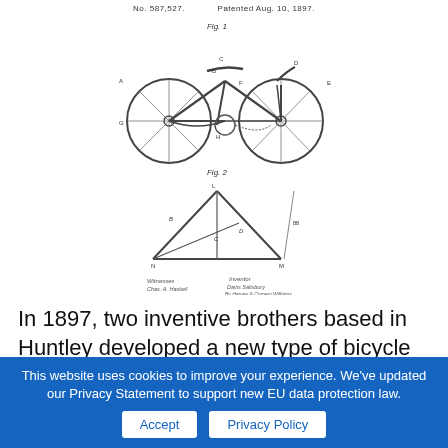[Figure (schematic): Patent drawing sheet showing Fig. 1 (bicycle side view with labeled parts) and Fig. 2 (bicycle frame triangle diagram with labeled dimensions). Header reads 'No. 587,527. Patented Aug. 10, 1897.' with signatures at bottom.]
In 1897, two inventive brothers based in Huntley developed a new type of bicycle
This website uses cookies to improve your experience. We've updated our Privacy Statement to support new EU data protection law.